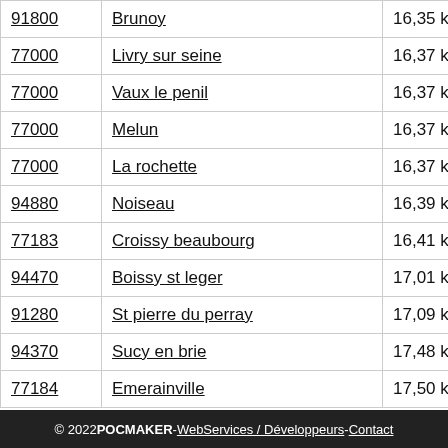| Code | Commune | Distance |
| --- | --- | --- |
| 91800 | Brunoy | 16,35 kms |
| 77000 | Livry sur seine | 16,37 kms |
| 77000 | Vaux le penil | 16,37 kms |
| 77000 | Melun | 16,37 kms |
| 77000 | La rochette | 16,37 kms |
| 94880 | Noiseau | 16,39 kms |
| 77183 | Croissy beaubourg | 16,41 kms |
| 94470 | Boissy st leger | 17,01 kms |
| 91280 | St pierre du perray | 17,09 kms |
| 94370 | Sucy en brie | 17,48 kms |
| 77184 | Emerainville | 17,50 kms |
© 2022 POCMAKER - WebServices / Développeurs - Contact